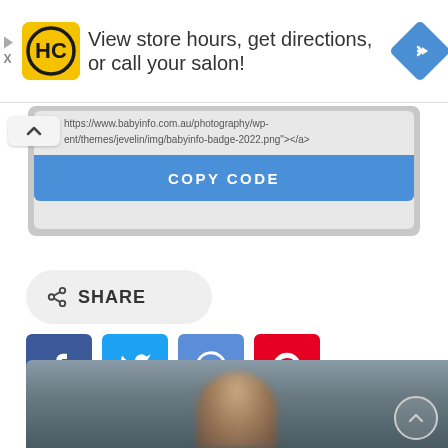[Figure (screenshot): Advertisement banner: HC (Hair Club) logo in yellow square, text 'View store hours, get directions, or call your salon!', blue diamond navigation icon]
https://www.babyinfo.com.au/photography/wp-content/themes/jevelin/img/babyinfo-badge-2022.png"></a>
[Figure (screenshot): Blue COPY CODE button]
[Figure (screenshot): Share button with share icon and SHARE text]
[Figure (screenshot): Social media icons: Facebook (blue), Twitter (light blue), Email (blue @), Pinterest (red)]
[Figure (photo): Partial photo of a person's head/hair at the bottom of the page with a circular scroll-to-top button]